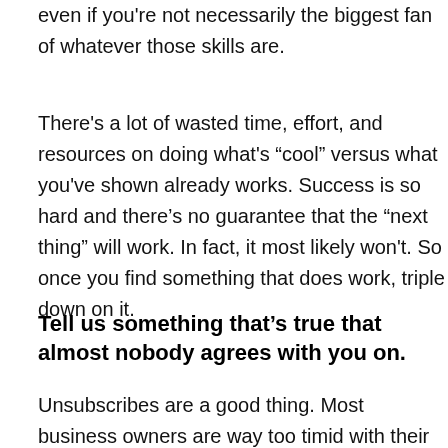even if you're not necessarily the biggest fan of whatever those skills are.
There's a lot of wasted time, effort, and resources on doing what's “cool” versus what you've shown already works. Success is so hard and there’s no guarantee that the “next thing” will work. In fact, it most likely won't. So once you find something that does work, triple down on it.
Tell us something that’s true that almost nobody agrees with you on.
Unsubscribes are a good thing. Most business owners are way too timid with their email